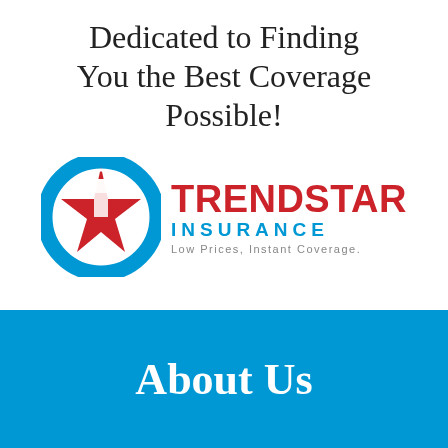Dedicated to Finding You the Best Coverage Possible!
[Figure (logo): Trendstar Insurance logo: blue circle with red star/arrow shape, red bold text TRENDSTAR, blue text INSURANCE, gray tagline Low Prices, Instant Coverage.]
About Us